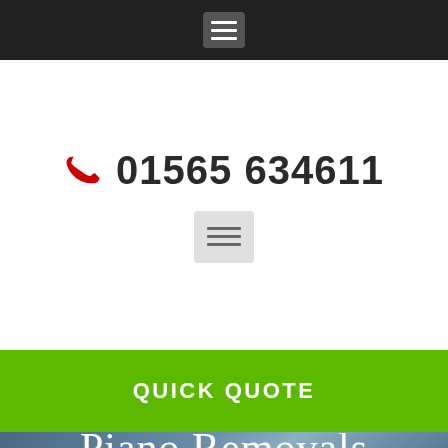[Figure (screenshot): Top black navigation bar with hamburger menu icon (white lines on dark background)]
01565 634611
[Figure (screenshot): Grey hamburger menu icon button]
QUICK QUOTE
Piano Removals